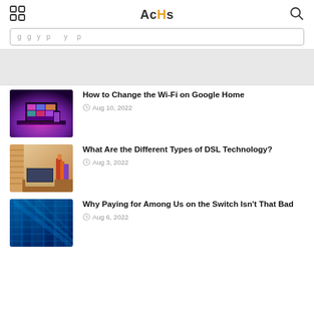AcHs
g...g...y...p...y...p
[Figure (screenshot): Advertisement banner area, gray background]
[Figure (photo): Desktop computer setup with purple/pink ambient lighting and colorful screen wallpaper]
How to Change the Wi-Fi on Google Home
Aug 10, 2022
[Figure (photo): Laptop and books on a desk with warm orange/brown tones]
What Are the Different Types of DSL Technology?
Aug 3, 2022
[Figure (photo): Modern building with blue glass facade and reflections]
Why Paying for Among Us on the Switch Isn't That Bad
Aug 6, 2022